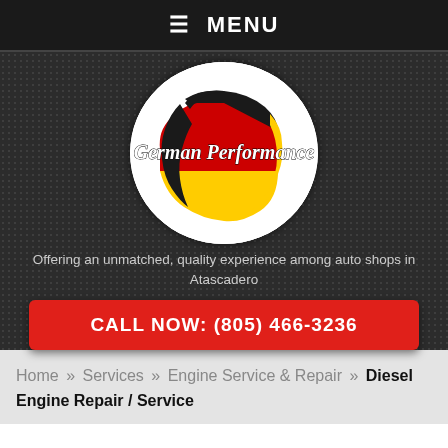☰ MENU
[Figure (logo): German Performance logo: circular white background with black, red, and yellow Germany map silhouette and italic text 'German Performance']
Offering an unmatched, quality experience among auto shops in Atascadero
CALL NOW: (805) 466-3236
Home » Services » Engine Service & Repair » Diesel Engine Repair / Service